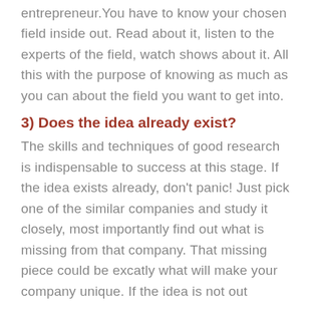entrepreneur.You have to know your chosen field inside out. Read about it, listen to the experts of the field, watch shows about it. All this with the purpose of knowing as much as you can about the field you want to get into.
3) Does the idea already exist?
The skills and techniques of good research is indispensable to success at this stage. If the idea exists already, don't panic! Just pick one of the similar companies and study it closely, most importantly find out what is missing from that company. That missing piece could be excatly what will make your company unique. If the idea is not out